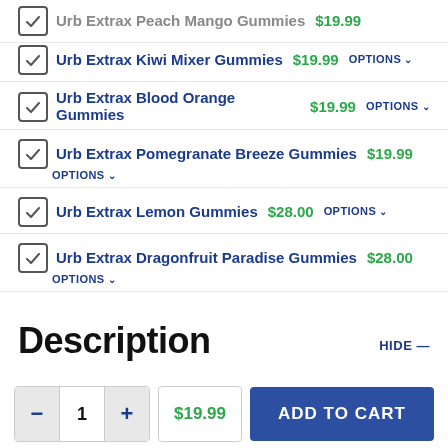Urb Extrax Peach Mango Gummies $19.99
Urb Extrax Kiwi Mixer Gummies $19.99 OPTIONS
Urb Extrax Blood Orange Gummies $19.99 OPTIONS
Urb Extrax Pomegranate Breeze Gummies $19.99 OPTIONS
Urb Extrax Lemon Gummies $28.00 OPTIONS
Urb Extrax Dragonfruit Paradise Gummies $28.00 OPTIONS
Description
HIDE —